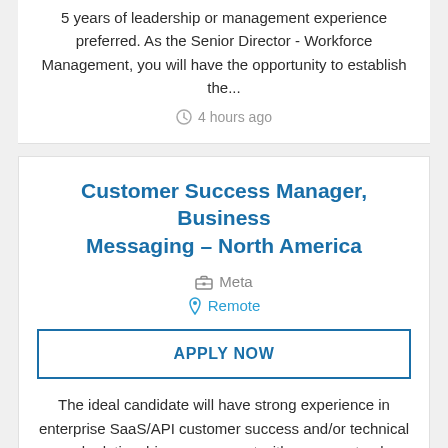5 years of leadership or management experience preferred. As the Senior Director - Workforce Management, you will have the opportunity to establish the...
4 hours ago
Customer Success Manager, Business Messaging – North America
Meta
Remote
APPLY NOW
The ideal candidate will have strong experience in enterprise SaaS/API customer success and/or technical and relationship management with a proven track record.